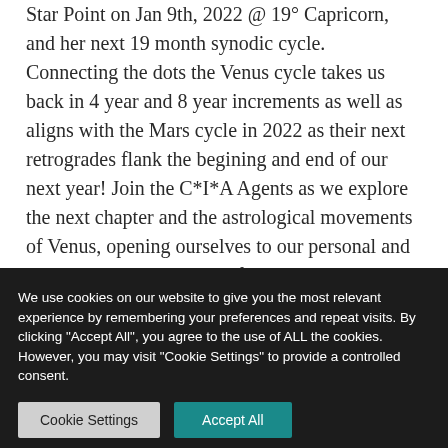Star Point on Jan 9th, 2022 @ 19° Capricorn, and her next 19 month synodic cycle. Connecting the dots the Venus cycle takes us back in 4 year and 8 year increments as well as aligns with the Mars cycle in 2022 as their next retrogrades flank the begining and end of our next year! Join the C*I*A Agents as we explore the next chapter and the astrological movements of Venus, opening ourselves to our personal and collective understanding of Venus in these
We use cookies on our website to give you the most relevant experience by remembering your preferences and repeat visits. By clicking "Accept All", you agree to the use of ALL the cookies. However, you may visit "Cookie Settings" to provide a controlled consent.